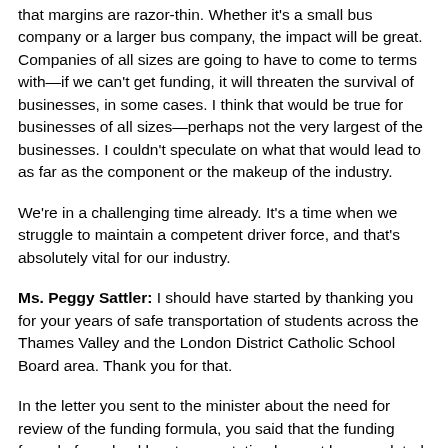that margins are razor-thin. Whether it's a small bus company or a larger bus company, the impact will be great. Companies of all sizes are going to have to come to terms with—if we can't get funding, it will threaten the survival of businesses, in some cases. I think that would be true for businesses of all sizes—perhaps not the very largest of the businesses. I couldn't speculate on what that would lead to as far as the component or the makeup of the industry.
We're in a challenging time already. It's a time when we struggle to maintain a competent driver force, and that's absolutely vital for our industry.
Ms. Peggy Sattler: I should have started by thanking you for your years of safe transportation of students across the Thames Valley and the London District Catholic School Board area. Thank you for that.
In the letter you sent to the minister about the need for review of the funding formula, you said that the funding formula for school bus transportation has not been updated